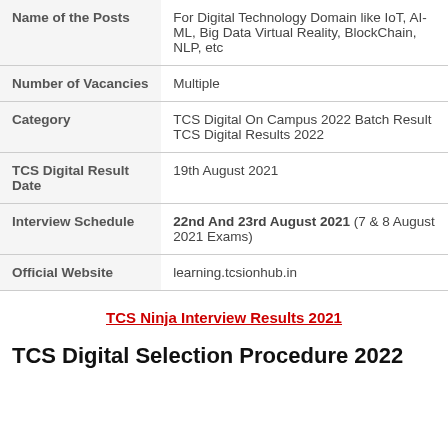| Field | Details |
| --- | --- |
| Name of the Posts | For Digital Technology Domain like IoT, AI-ML, Big Data Virtual Reality, BlockChain, NLP, etc |
| Number of Vacancies | Multiple |
| Category | TCS Digital On Campus 2022 Batch Result TCS Digital Results 2022 |
| TCS Digital Result Date | 19th August 2021 |
| Interview Schedule | 22nd And 23rd August 2021 (7 & 8 August 2021 Exams) |
| Official Website | learning.tcsionhub.in |
TCS Ninja Interview Results 2021
TCS Digital Selection Procedure 2022